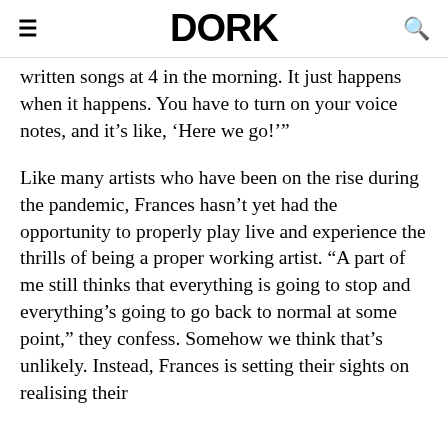DORK
written songs at 4 in the morning. It just happens when it happens. You have to turn on your voice notes, and it's like, ‘Here we go!’”
Like many artists who have been on the rise during the pandemic, Frances hasn’t yet had the opportunity to properly play live and experience the thrills of being a proper working artist. “A part of me still thinks that everything is going to stop and everything’s going to go back to normal at some point,” they confess. Somehow we think that’s unlikely. Instead, Frances is setting their sights on realising their